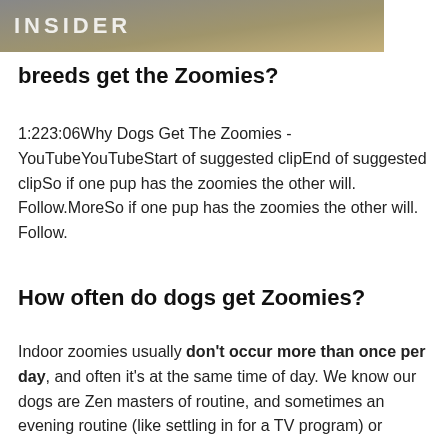[Figure (photo): Top portion of an image showing a sandy/earthy background with 'INSIDER' text overlay in white bold letters]
breeds get the Zoomies?
1:223:06Why Dogs Get The Zoomies - YouTubeYouTubeStart of suggested clipEnd of suggested clipSo if one pup has the zoomies the other will. Follow.MoreSo if one pup has the zoomies the other will. Follow.
How often do dogs get Zoomies?
Indoor zoomies usually don't occur more than once per day, and often it's at the same time of day. We know our dogs are Zen masters of routine, and sometimes an evening routine (like settling in for a TV program) or